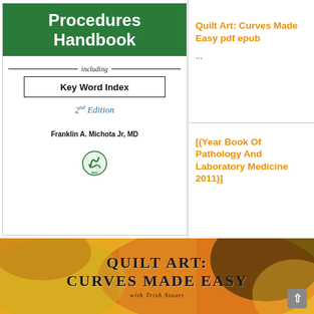[Figure (photo): Book cover for a medical procedures handbook including Key Word Index, 2nd Edition by Franklin A. Michota Jr, MD. Green cover with white bold text and publisher logo.]
Quilt Art: Curves Made Easy pdf epub
...
[(Year Book Of Pathology And Laboratory Medicine 2011)]
[Figure (photo): Banner image for Quilt Art: Curves Made Easy with Trish Stuart, showing colorful quilt fabric in yellow, red, and dark tones with the title text overlaid.]